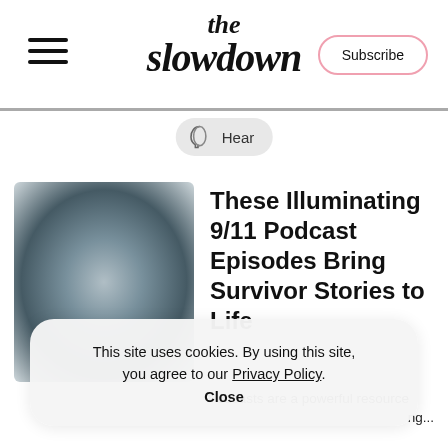the slowdown
Hear
These Illuminating 9/11 Podcast Episodes Bring Survivor Stories to Life
Podcasts are a powerful resource ing...
This site uses cookies. By using this site, you agree to our Privacy Policy. Close